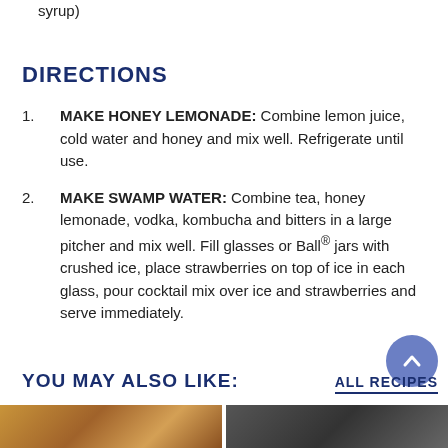syrup)
DIRECTIONS
MAKE HONEY LEMONADE: Combine lemon juice, cold water and honey and mix well. Refrigerate until use.
MAKE SWAMP WATER: Combine tea, honey lemonade, vodka, kombucha and bitters in a large pitcher and mix well. Fill glasses or Ball® jars with crushed ice, place strawberries on top of ice in each glass, pour cocktail mix over ice and strawberries and serve immediately.
YOU MAY ALSO LIKE:
ALL RECIPES
[Figure (photo): Two food photos side by side at bottom of page]